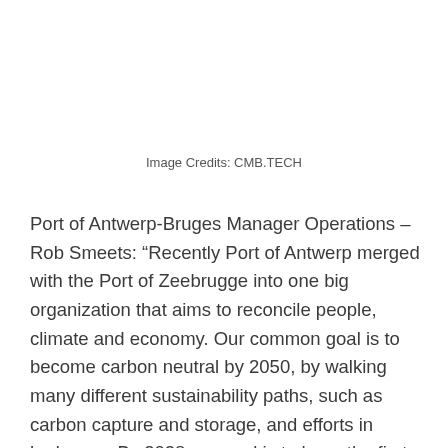Image Credits: CMB.TECH
Port of Antwerp-Bruges Manager Operations – Rob Smeets: “Recently Port of Antwerp merged with the Port of Zeebrugge into one big organization that aims to reconcile people, climate and economy. Our common goal is to become carbon neutral by 2050, by walking many different sustainability paths, such as carbon capture and storage, and efforts in hydrogen. By 2028 our goal is to have the first green hydrogen molecules on